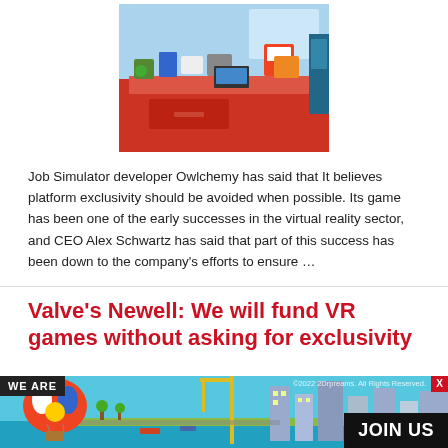[Figure (screenshot): Screenshot of Job Simulator game showing a virtual store/office environment with colorful items on a red counter]
Job Simulator developer Owlchemy has said that It believes platform exclusivity should be avoided when possible. Its game has been one of the early successes in the virtual reality sector, and CEO Alex Schwartz has said that part of this success has been down to the company's efforts to ensure …
Valve's Newell: We will fund VR games without asking for exclusivity
[Figure (photo): Advertisement banner showing a colorful city scene with a hot air balloon, cranes, and buildings. Contains text 'WE ARE' and 'JOIN US' with a close button X.]